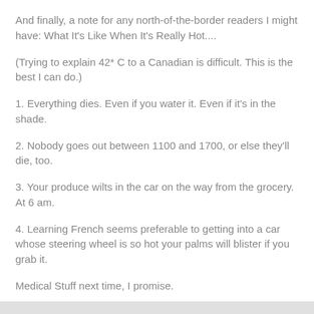And finally, a note for any north-of-the-border readers I might have: What It's Like When It's Really Hot....
(Trying to explain 42* C to a Canadian is difficult. This is the best I can do.)
1. Everything dies. Even if you water it. Even if it's in the shade.
2. Nobody goes out between 1100 and 1700, or else they'll die, too.
3. Your produce wilts in the car on the way from the grocery. At 6 am.
4. Learning French seems preferable to getting into a car whose steering wheel is so hot your palms will blister if you grab it.
Medical Stuff next time, I promise.